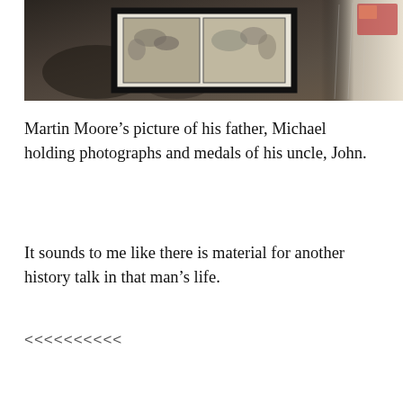[Figure (photo): A framed display of historical black-and-white photographs on a dark wooden surface, with an open magazine or book visible on the right side.]
Martin Moore’s picture of his father, Michael holding photographs and medals of his uncle, John.
It sounds to me like there is material for another history talk in that man’s life.
<<<<<<<<<<